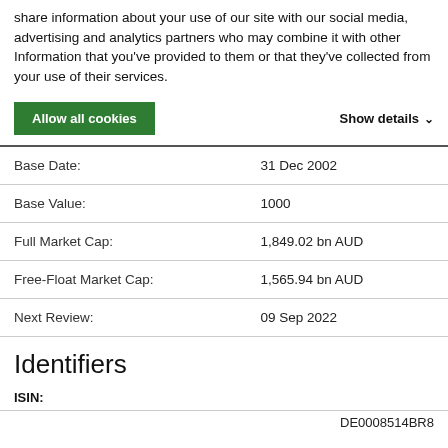share information about your use of our site with our social media, advertising and analytics partners who may combine it with other Information that you've provided to them or that they've collected from your use of their services.
Allow all cookies   Show details
| Field | Value |
| --- | --- |
| Base Date: | 31 Dec 2002 |
| Base Value: | 1000 |
| Full Market Cap: | 1,849.02 bn AUD |
| Free-Float Market Cap: | 1,565.94 bn AUD |
| Next Review: | 09 Sep 2022 |
Identifiers
ISIN:
DE0008514BR8